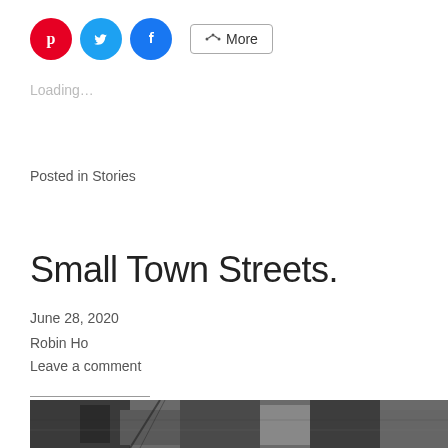[Figure (other): Social share buttons: Pinterest (red circle), Twitter (blue circle), Facebook (blue circle), and a More button with share icon]
Loading…
Posted in Stories
Small Town Streets.
June 28, 2020
Robin Ho
Leave a comment
[Figure (photo): Black and white photograph of small town streets showing buildings with architectural details]